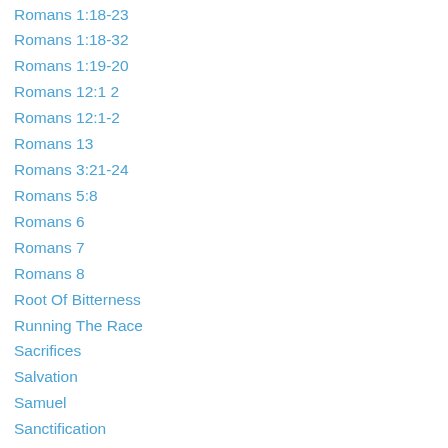Romans 1:18-23
Romans 1:18-32
Romans 1:19-20
Romans 12:1 2
Romans 12:1-2
Romans 13
Romans 3:21-24
Romans 5:8
Romans 6
Romans 7
Romans 8
Root Of Bitterness
Running The Race
Sacrifices
Salvation
Samuel
Sanctification
Sanctity Of Human Life
Sanctity Of Human Life Day
Sarah